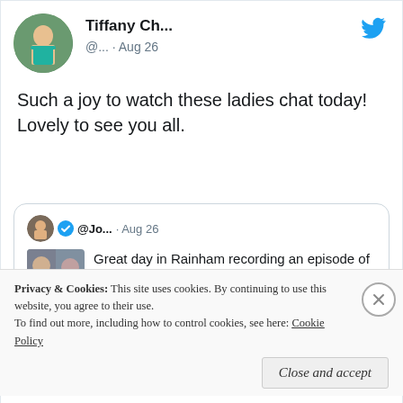[Figure (screenshot): Twitter/X profile avatar of Tiffany Ch... showing a woman in a green outfit]
Tiffany Ch...
@... · Aug 26
Such a joy to watch these ladies chat today! Lovely to see you all.
[Figure (screenshot): Quoted tweet from @Jo... dated Aug 26 with profile picture and embedded image. Text: Great day in Rainham recording an episode of the Simple Life Ch...]
Privacy & Cookies:  This site uses cookies. By continuing to use this website, you agree to their use.
To find out more, including how to control cookies, see here: Cookie Policy
Close and accept